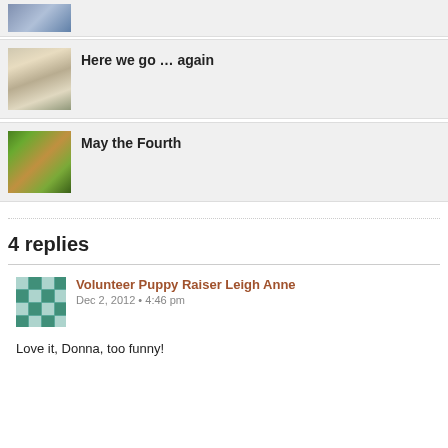[Figure (photo): Partial view of product image at top of page]
[Figure (photo): White Labrador puppy sitting on grass looking at camera]
Here we go … again
[Figure (photo): Garden with green plants and golden dog fur visible]
May the Fourth
4 replies
Volunteer Puppy Raiser Leigh Anne
Dec 2, 2012 • 4:46 pm
Love it, Donna, too funny!